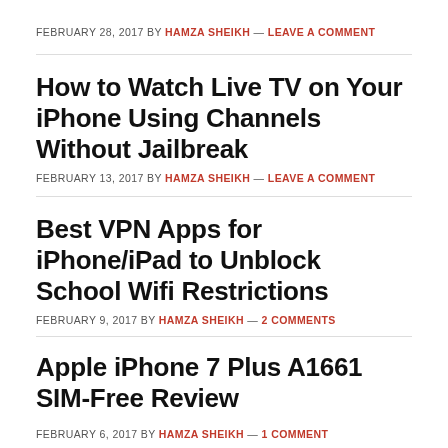FEBRUARY 28, 2017 BY HAMZA SHEIKH — LEAVE A COMMENT
How to Watch Live TV on Your iPhone Using Channels Without Jailbreak
FEBRUARY 13, 2017 BY HAMZA SHEIKH — LEAVE A COMMENT
Best VPN Apps for iPhone/iPad to Unblock School Wifi Restrictions
FEBRUARY 9, 2017 BY HAMZA SHEIKH — 2 COMMENTS
Apple iPhone 7 Plus A1661 SIM-Free Review
FEBRUARY 6, 2017 BY HAMZA SHEIKH — 1 COMMENT